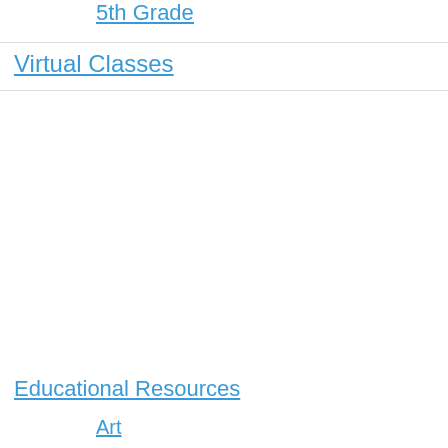5th Grade
Virtual Classes
Educational Resources
Art
E...